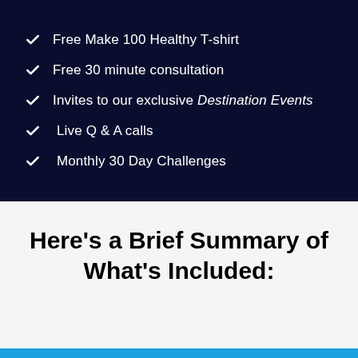Free Make 100 Healthy T-shirt
Free 30 minute consultation
Invites to our exclusive Destination Events
Live Q & A calls
Monthly 30 Day Challenges
Here's a Brief Summary of What's Included: